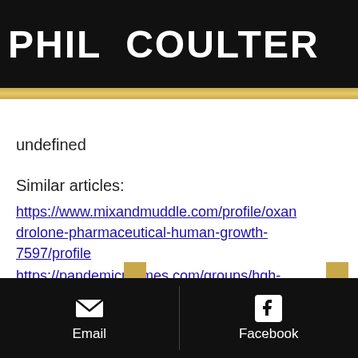PHIL COULTER
undefined
Similar articles:
https://www.mixandmuddle.com/profile/oxandrolone-pharmaceutical-human-growth-7597/profile
https://pandemicmemes.com/groups/hgh-production-how-to-get-prescribed-hgh/
https://www.misogynah.com/profile/sarms-101-how-to-take-sarms-4249/profile
https://www.ikumopharmacy.com/profile/deca-durabolin-para-que-es-deca-durabol-3385/profile
Email   Facebook